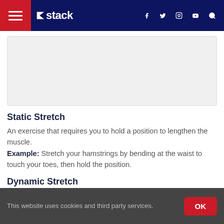Stack — navigation bar with hamburger menu, Stack logo, social icons (Facebook, Twitter, Instagram, YouTube), and search icon
[Figure (other): Gray image/content placeholder box]
Static Stretch
An exercise that requires you to hold a position to lengthen the muscle. Example: Stretch your hamstrings by bending at the waist to touch your toes, then hold the position.
Dynamic Stretch
This website uses cookies and third party services. OK